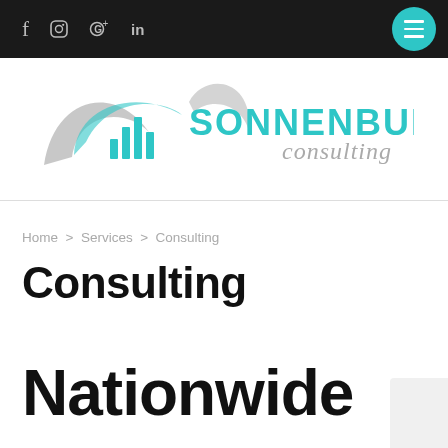f  Instagram  G+  in  [hamburger menu]
[Figure (logo): Sonnenburg Consulting logo with teal bar chart icon inside a swoosh graphic and SONNENBURG consulting text in teal and gray]
Home > Services > Consulting
Consulting
Nationwide